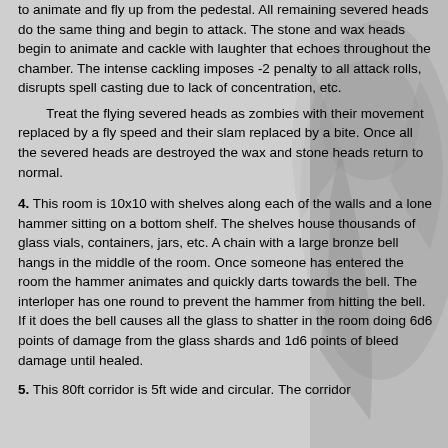to animate and fly up from the pedestal. All remaining severed heads do the same thing and begin to attack. The stone and wax heads begin to animate and cackle with laughter that echoes throughout the chamber. The intense cackling imposes -2 penalty to all attack rolls, disrupts spell casting due to lack of concentration, etc.
	Treat the flying severed heads as zombies with their movement replaced by a fly speed and their slam replaced by a bite. Once all the severed heads are destroyed the wax and stone heads return to normal.
4. This room is 10x10 with shelves along each of the walls and a lone hammer sitting on a bottom shelf. The shelves house thousands of glass vials, containers, jars, etc. A chain with a large bronze bell hangs in the middle of the room. Once someone has entered the room the hammer animates and quickly darts towards the bell. The interloper has one round to prevent the hammer from hitting the bell. If it does the bell causes all the glass to shatter in the room doing 6d6 points of damage from the glass shards and 1d6 points of bleed damage until healed.
5. This 80ft corridor is 5ft wide and circular. The corridor